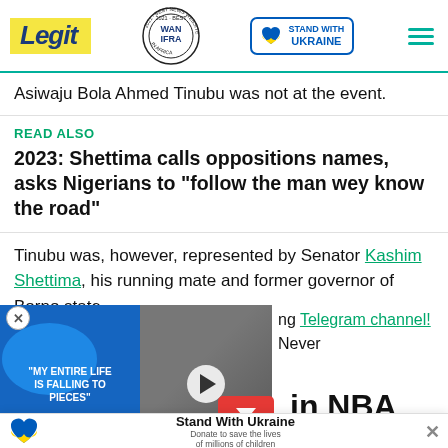Legit | WAN IFRA 2021 Best News Website in Africa | Stand With Ukraine
Asiwaju Bola Ahmed Tinubu was not at the event.
READ ALSO
2023: Shettima calls oppositions names, asks Nigerians to “follow the man wey know the road”
Tinubu was, however, represented by Senator Kashim Shettima, his running mate and former governor of Borno state.
ng Telegram channel! Never
[Figure (screenshot): Video overlay showing text 'MY ENTIRE LIFE IS FALLING TO PIECES' on left and a smiling man in a suit on the right, with a play button in the center.]
Stand With Ukraine — Donate to save the lives of millions of children